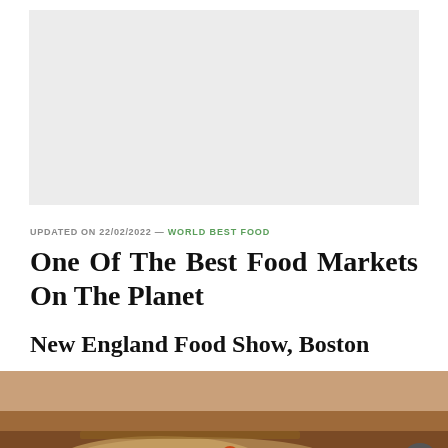[Figure (other): Gray advertisement placeholder banner]
UPDATED ON 22/02/2022 — WORLD BEST FOOD
One Of The Best Food Markets On The Planet
New England Food Show, Boston
[Figure (photo): Photo of pizza or food dish on a wooden board, partially visible at the bottom of the page]